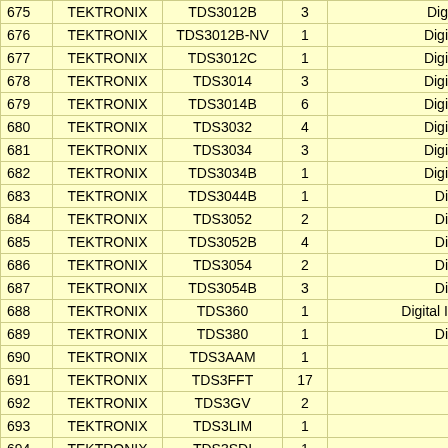| # | Manufacturer | Model | Qty | Type |
| --- | --- | --- | --- | --- |
| 675 | TEKTRONIX | TDS3012B | 3 | Dig... |
| 676 | TEKTRONIX | TDS3012B-NV | 1 | Digi... |
| 677 | TEKTRONIX | TDS3012C | 1 | Digi... |
| 678 | TEKTRONIX | TDS3014 | 3 | Digi... |
| 679 | TEKTRONIX | TDS3014B | 6 | Digi... |
| 680 | TEKTRONIX | TDS3032 | 4 | Digi... |
| 681 | TEKTRONIX | TDS3034 | 3 | Digi... |
| 682 | TEKTRONIX | TDS3034B | 1 | Digi... |
| 683 | TEKTRONIX | TDS3044B | 1 | Di... |
| 684 | TEKTRONIX | TDS3052 | 2 | Di... |
| 685 | TEKTRONIX | TDS3052B | 4 | Di... |
| 686 | TEKTRONIX | TDS3054 | 2 | Di... |
| 687 | TEKTRONIX | TDS3054B | 3 | Di... |
| 688 | TEKTRONIX | TDS360 | 1 | Digital ... |
| 689 | TEKTRONIX | TDS380 | 1 | Di... |
| 690 | TEKTRONIX | TDS3AAM | 1 |  |
| 691 | TEKTRONIX | TDS3FFT | 17 |  |
| 692 | TEKTRONIX | TDS3GV | 2 |  |
| 693 | TEKTRONIX | TDS3LIM | 1 |  |
| 694 | TEKTRONIX | TDS3SDI | 1 |  |
| 695 | TEKTRONIX | TDS3TRG | 17 |  |